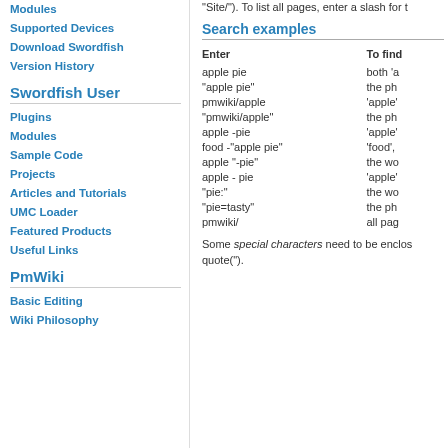"Site/"). To list all pages, enter a slash for t
Search examples
| Enter | To find |
| --- | --- |
| apple pie | both 'a |
| "apple pie" | the ph |
| pmwiki/apple | 'apple' |
| "pmwiki/apple" | the ph |
| apple -pie | 'apple' |
| food -"apple pie" | 'food', |
| apple "-pie" | the wo |
| apple - pie | 'apple' |
| "pie:" | the wo |
| "pie=tasty" | the ph |
| pmwiki/ | all pag |
Some special characters need to be enclosed in double quote(").
Modules
Supported Devices
Download Swordfish
Version History
Swordfish User
Plugins
Modules
Sample Code
Projects
Articles and Tutorials
UMC Loader
Featured Products
Useful Links
PmWiki
Basic Editing
Wiki Philosophy